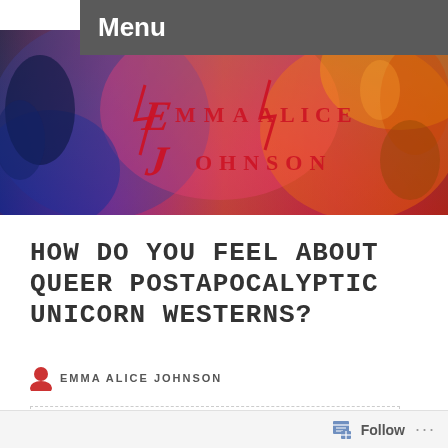Menu
[Figure (illustration): Colorful painted banner with the text Emma Alice Johnson styled in a dramatic red and black font over a vibrant abstract painted background featuring figures and swirling colors.]
HOW DO YOU FEEL ABOUT QUEER POSTAPOCALYPTIC UNICORN WESTERNS?
EMMA ALICE JOHNSON
Follow ...